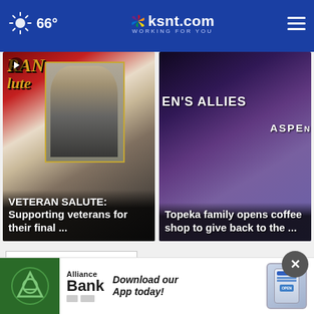66° | ksnt.com WORKING FOR YOU
[Figure (screenshot): News card 1: VETERAN SALUTE: Supporting veterans for their final ...]
[Figure (screenshot): News card 2: Topeka family opens coffee shop to give back to the ...]
Top Stories
[Figure (screenshot): Alliance Bank advertisement: Download our App today!]